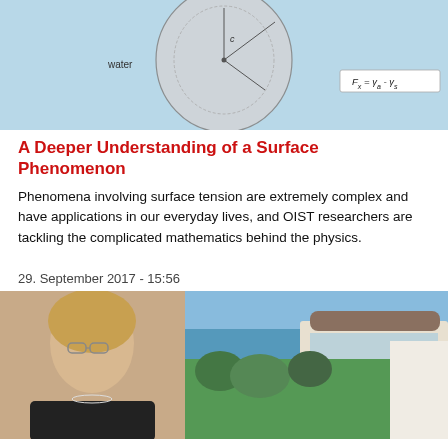[Figure (illustration): Scientific diagram showing surface tension physics: a spherical droplet with labels, water label on left, formula F_x = y_a - y_s on right, on light blue background]
A Deeper Understanding of a Surface Phenomenon
Phenomena involving surface tension are extremely complex and have applications in our everyday lives, and OIST researchers are tackling the complicated mathematics behind the physics.
29. September 2017 - 15:56
[Figure (photo): Composite photo: portrait of a woman with glasses and blonde hair on the left, aerial view of OIST campus buildings surrounded by trees and ocean in the background on the right]
Dr. Cherry Murray Elected as New Chair of the OIST Board of Governors